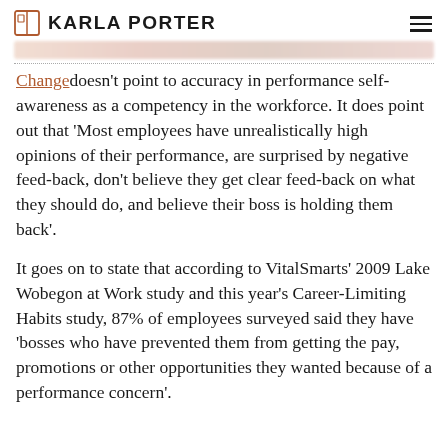KARLA PORTER
Change doesn't point to accuracy in performance self-awareness as a competency in the workforce. It does point out that 'Most employees have unrealistically high opinions of their performance, are surprised by negative feed-back, don't believe they get clear feed-back on what they should do, and believe their boss is holding them back'.
It goes on to state that according to VitalSmarts' 2009 Lake Wobegon at Work study and this year's Career-Limiting Habits study, 87% of employees surveyed said they have 'bosses who have prevented them from getting the pay, promotions or other opportunities they wanted because of a performance concern'.